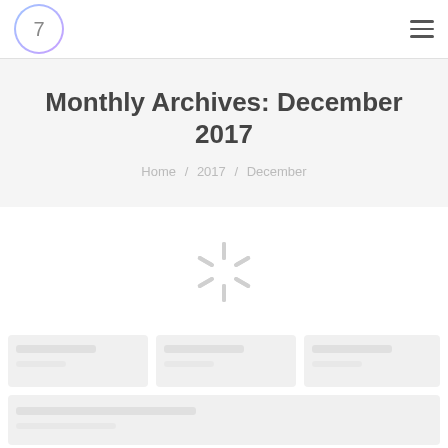7
Monthly Archives: December 2017
Home / 2017 / December
[Figure (other): Loading spinner animation icon (radiating lines, light gray) indicating content is loading]
[Figure (other): Gray placeholder card grid area showing skeleton loading state for article cards below the spinner]